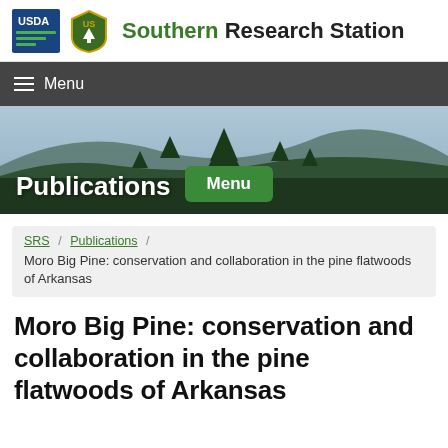Southern Research Station
[Figure (screenshot): USDA and US Forest Service logos in the site header]
[Figure (photo): Hero image showing forested mountain landscape with pine trees; overlaid with 'Publications' text and a green 'Menu' button]
SRS / Publications / Moro Big Pine: conservation and collaboration in the pine flatwoods of Arkansas
Moro Big Pine: conservation and collaboration in the pine flatwoods of Arkansas